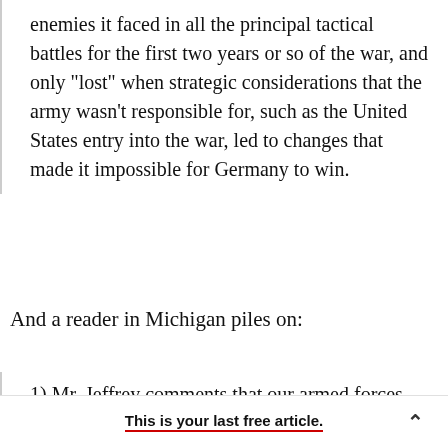enemies it faced in all the principal tactical battles for the first two years or so of the war, and only "lost" when strategic considerations that the army wasn't responsible for, such as the United States entry into the war, led to changes that made it impossible for Germany to win.
And a reader in Michigan piles on:
1) Mr. Jeffrey comments that our armed forces have generally been successful on the
This is your last free article.